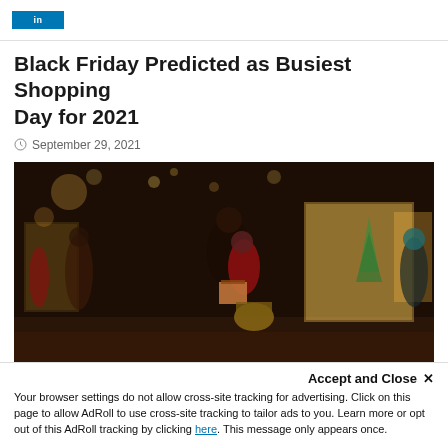Black Friday Predicted as Busiest Shopping Day for 2021
September 29, 2021
[Figure (photo): People shopping on a dark evening street with Christmas decorations and illuminated shop windows. A woman and child carrying wrapped gifts and a wicker basket are in the foreground.]
Sensormatic Solutions, a global retail solutions portfolio of tal
Accept and Close ×
Your browser settings do not allow cross-site tracking for advertising. Click on this page to allow AdRoll to use cross-site tracking to tailor ads to you. Learn more or opt out of this AdRoll tracking by clicking here. This message only appears once.